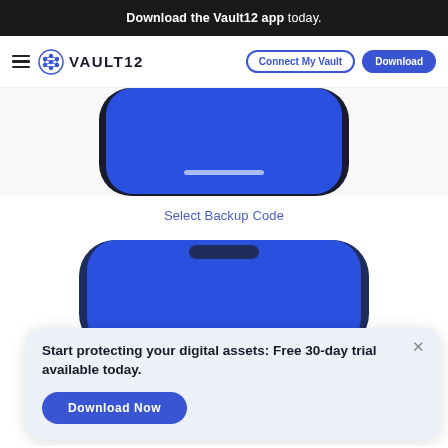Download the Vault12 app today.
[Figure (screenshot): Vault12 website navigation bar with hamburger menu, Vault12 logo, Connect My Vault outlined button, and Download solid button]
[Figure (screenshot): Bottom portion of a smartphone showing a blue app screen with a white rounded rectangle at the bottom (home indicator)]
Select Backup Code
[Figure (screenshot): Top portion of a smartphone showing a dark-bordered phone with a blue screen partially visible, overlaid by a popup card reading: Start protecting your digital assets: Free 30-day trial available today. with a Download Now button]
Start protecting your digital assets: Free 30-day trial available today.
Download Now